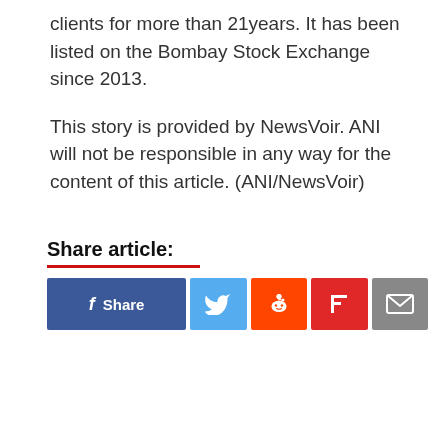clients for more than 21years. It has been listed on the Bombay Stock Exchange since 2013.
This story is provided by NewsVoir. ANI will not be responsible in any way for the content of this article. (ANI/NewsVoir)
Share article:
[Figure (other): Social share buttons: Facebook Share, Twitter, Reddit, Flipboard, Email]